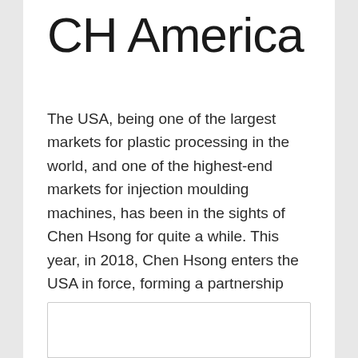CH America
The USA, being one of the largest markets for plastic processing in the world, and one of the highest-end markets for injection moulding machines, has been in the sights of Chen Hsong for quite a while. This year, in 2018, Chen Hsong enters the USA in force, forming a partnership with a couple of industry veterans to form CH-America, responsible for the sales and service of Chen Hsong products in the USA and Canadian markets.
[Figure (photo): Empty white box/image placeholder at bottom of page]